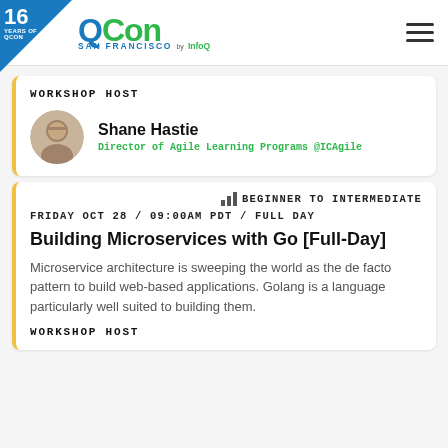QCon San Francisco by InfoQ — 16 Years of QCon
WORKSHOP HOST
Shane Hastie
Director of Agile Learning Programs @ICAgile
BEGINNER TO INTERMEDIATE
FRIDAY OCT 28 / 09:00AM PDT / FULL DAY
Building Microservices with Go [Full-Day]
Microservice architecture is sweeping the world as the de facto pattern to build web-based applications. Golang is a language particularly well suited to building them.
WORKSHOP HOST